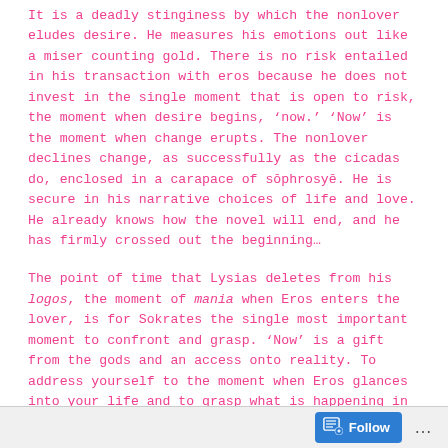It is a deadly stinginess by which the nonlover eludes desire. He measures his emotions out like a miser counting gold. There is no risk entailed in his transaction with eros because he does not invest in the single moment that is open to risk, the moment when desire begins, ‘now.’ ‘Now’ is the moment when change erupts. The nonlover declines change, as successfully as the cicadas do, enclosed in a carapace of sōphrosyē. He is secure in his narrative choices of life and love. He already knows how the novel will end, and he has firmly crossed out the beginning…
The point of time that Lysias deletes from his logos, the moment of mania when Eros enters the lover, is for Sokrates the single most important moment to confront and grasp. ‘Now’ is a gift from the gods and an access onto reality. To address yourself to the moment when Eros glances into your life and to grasp what is happening in your soul at that moment is to begin to understand how to
Follow ...